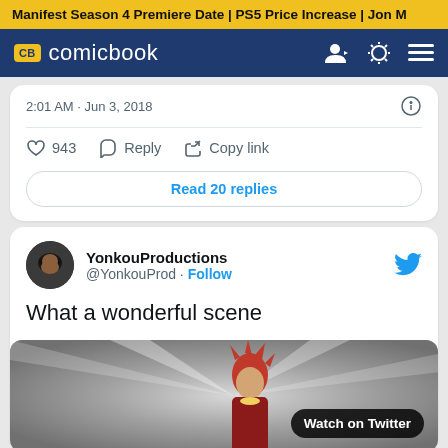Manifest Season 4 Premiere Date | PS5 Price Increase | Jon M
[Figure (screenshot): ComicBook.com navigation bar with CB logo, site title 'comicbook', user icon, theme toggle, and hamburger menu on dark blue background]
2:01 AM · Jun 3, 2018
943  Reply  Copy link
Read 20 replies
YonkouProductions
@YonkouProd · Follow
What a wonderful scene
[Figure (screenshot): Twitter embedded video showing an anime character with red spiky hair and ornate clothing against a dramatic light background, with 'Watch on Twitter' button overlay]